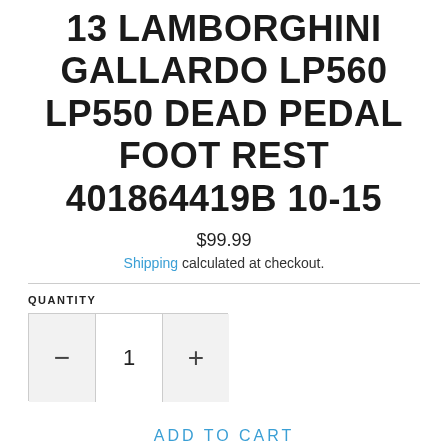13 LAMBORGHINI GALLARDO LP560 LP550 DEAD PEDAL FOOT REST 401864419B 10-15
$99.99
Shipping calculated at checkout.
QUANTITY
1
ADD TO CART
I agree to the shipping terms and conditions.